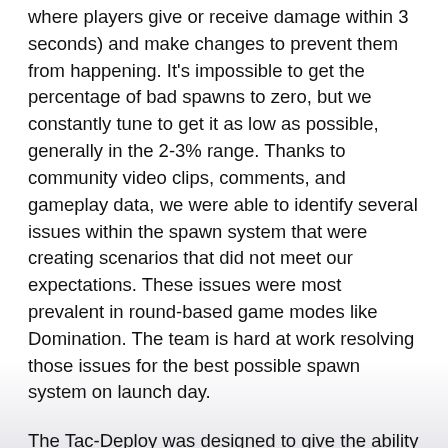where players give or receive damage within 3 seconds) and make changes to prevent them from happening. It's impossible to get the percentage of bad spawns to zero, but we constantly tune to get it as low as possible, generally in the 2-3% range. Thanks to community video clips, comments, and gameplay data, we were able to identify several issues within the spawn system that were creating scenarios that did not meet our expectations. These issues were most prevalent in round-based game modes like Domination. The team is hard at work resolving those issues for the best possible spawn system on launch day.
The Tac-Deploy was designed to give the ability to redirect the flow of combat at strategically important moments by